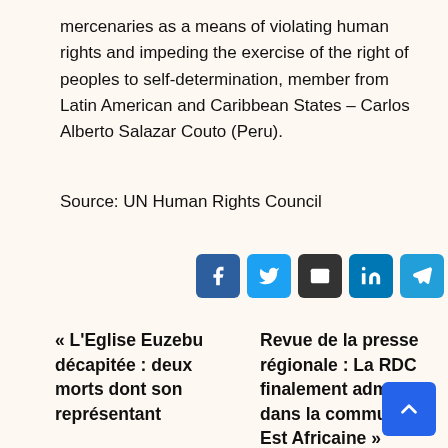mercenaries as a means of violating human rights and impeding the exercise of the right of peoples to self-determination, member from Latin American and Caribbean States – Carlos Alberto Salazar Couto (Peru).
Source: UN Human Rights Council
[Figure (other): Row of six social share buttons: Facebook (blue), Twitter (light blue), Email (dark/black), LinkedIn (blue), Telegram (light blue), Pinterest (red)]
« L'Eglise Euzebu décapitée : deux morts dont son représentant
Revue de la presse régionale : La RDC finalement admise dans la communauté Est Africaine »